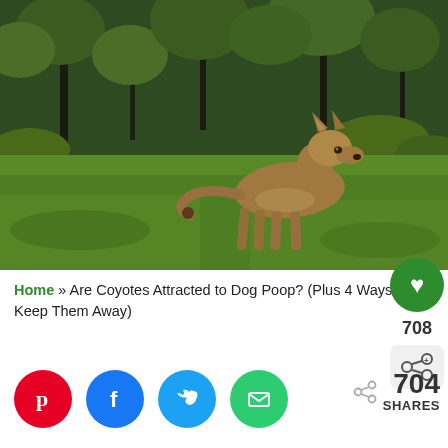[Figure (photo): A coyote standing in a grassy meadow with trees and shrubs in the background. The coyote is tan/brown colored and faces right, standing profile view on green grass.]
Home » Are Coyotes Attracted to Dog Poop? (Plus 4 Ways to Keep Them Away)
708
[Figure (infographic): Social share buttons: Pinterest (red), Facebook (blue), Twitter (light blue), Email (green). Total shares count showing 704 SHARES with a share arrow icon.]